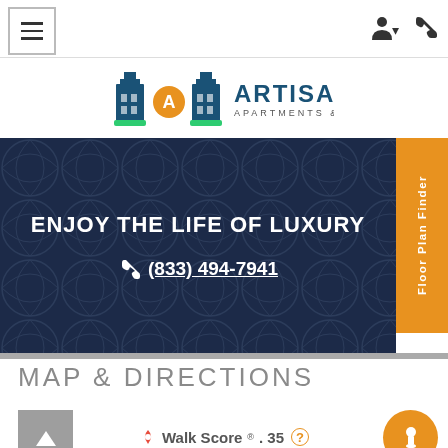Artisan Apartments & Shops navigation bar
[Figure (logo): Artisan Apartments & Shops logo with building icons in blue and green and an orange 'A' medallion]
[Figure (infographic): Dark navy hero banner with geometric pattern reading 'ENJOY THE LIFE OF LUXURY' and phone number (833) 494-7941, with orange 'Floor Plan Finder' vertical tab on right]
MAP & DIRECTIONS
Walk Score® 35 ?